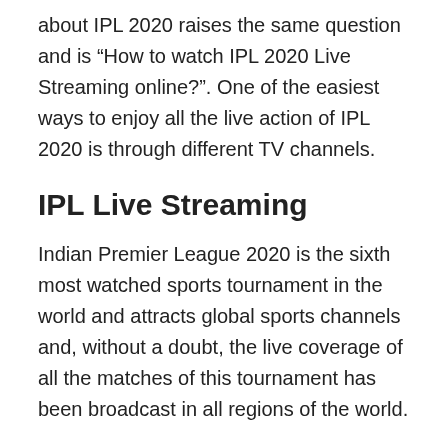about IPL 2020 raises the same question and is “How to watch IPL 2020 Live Streaming online?”. One of the easiest ways to enjoy all the live action of IPL 2020 is through different TV channels.
IPL Live Streaming
Indian Premier League 2020 is the sixth most watched sports tournament in the world and attracts global sports channels and, without a doubt, the live coverage of all the matches of this tournament has been broadcast in all regions of the world.
Star Sports is the official IPL 2020 broadcast channel as Star Network has purchased all streaming rights for this event, while the live broadcast of IPL 2020 will be available on Hotstar Live Streaming.Viewers have